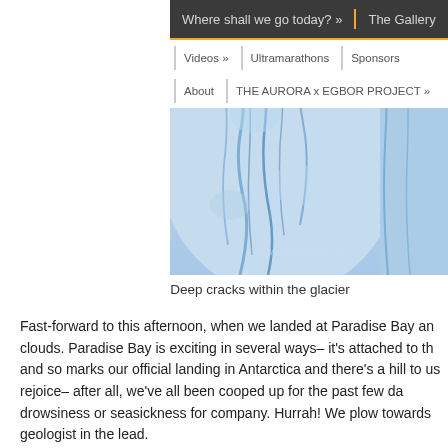Where shall we go today? »   The Gallery
Videos »   Ultramarathons   Sponsors
About   THE AURORA x EGBOR PROJECT »
[Figure (photo): Close-up photograph of deep blue cracks and crevasses within a glacier, showing ice formations in shades of blue and white. A watermark reads www.SwimmingC...]
Deep cracks within the glacier
Fast-forward to this afternoon, when we landed at Paradise Bay an clouds. Paradise Bay is exciting in several ways– it's attached to th and so marks our official landing in Antarctica and there's a hill to us rejoice– after all, we've all been cooped up for the past few da drowsiness or seasickness for company. Hurrah! We plow towards geologist in the lead.